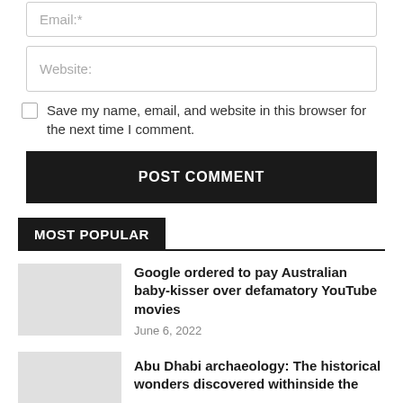Email:*
Website:
Save my name, email, and website in this browser for the next time I comment.
POST COMMENT
MOST POPULAR
Google ordered to pay Australian baby-kisser over defamatory YouTube movies
June 6, 2022
Abu Dhabi archaeology: The historical wonders discovered withinside the